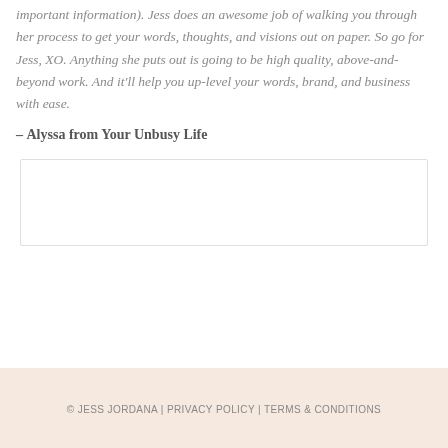important information). Jess does an awesome job of walking you through her process to get your words, thoughts, and visions out on paper. So go for Jess, XO. Anything she puts out is going to be high quality, above-and-beyond work. And it'll help you up-level your words, brand, and business with ease.
– Alyssa from Your Unbusy Life
[Figure (other): Empty white box with light border, likely a placeholder for an image or comment form]
© JESS JORDANA | PRIVACY POLICY | TERMS & CONDITIONS